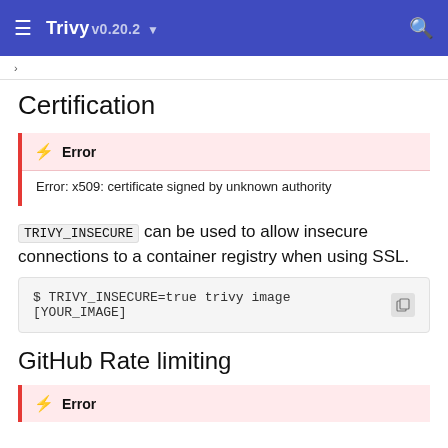Trivy v0.20.2
Certification
Error: x509: certificate signed by unknown authority
TRIVY_INSECURE can be used to allow insecure connections to a container registry when using SSL.
$ TRIVY_INSECURE=true trivy image [YOUR_IMAGE]
GitHub Rate limiting
Error